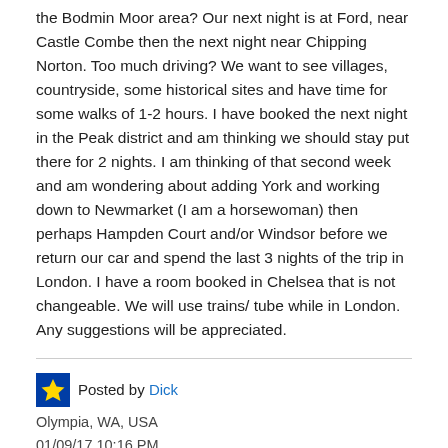the Bodmin Moor area? Our next night is at Ford, near Castle Combe then the next night near Chipping Norton. Too much driving? We want to see villages, countryside, some historical sites and have time for some walks of 1-2 hours. I have booked the next night in the Peak district and am thinking we should stay put there for 2 nights. I am thinking of that second week and am wondering about adding York and working down to Newmarket (I am a horsewoman) then perhaps Hampden Court and/or Windsor before we return our car and spend the last 3 nights of the trip in London. I have a room booked in Chelsea that is not changeable. We will use trains/ tube while in London. Any suggestions will be appreciated.
Posted by Dick
Olympia, WA, USA
01/09/17 10:16 PM
5267 posts
You can use Via Michelin for driving distances and directions. It's